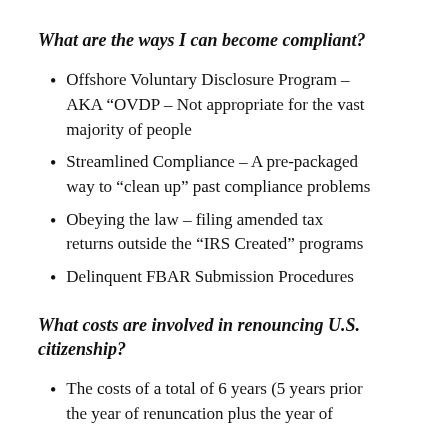What are the ways I can become compliant?
Offshore Voluntary Disclosure Program – AKA “OVDP – Not appropriate for the vast majority of people
Streamlined Compliance – A pre-packaged way to “clean up” past compliance problems
Obeying the law – filing amended tax returns outside the “IRS Created” programs
Delinquent FBAR Submission Procedures
What costs are involved in renouncing U.S. citizenship?
The costs of a total of 6 years (5 years prior the year of renuncation plus the year of